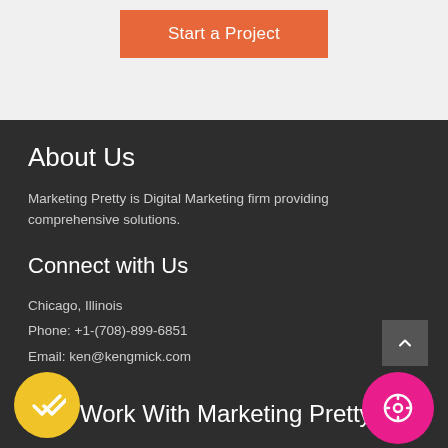Start a Project
About Us
Marketing Pretty is Digital Marketing firm providing comprehensive solutions.
Connect with Us
Chicago, Illinois
Phone: +1-(708)-899-6851
Email: ken@kengmick.com
Work With Marketing Pretty